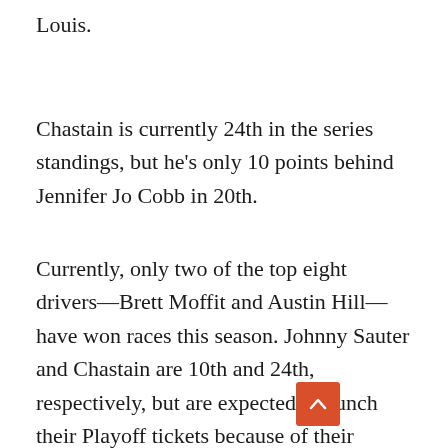Louis.
Chastain is currently 24th in the series standings, but he's only 10 points behind Jennifer Jo Cobb in 20th.
Currently, only two of the top eight drivers—Brett Moffit and Austin Hill—have won races this season. Johnny Sauter and Chastain are 10th and 24th, respectively, but are expected to punch their Playoff tickets because of their victories.
That leaves six of the top eight in the standings—Grant Enfinger, Stewart Friesen, Matt Crafton, Ben Rhodes, Harrison Burton and Todd Gilliland scrambling for the remaining four positions. A win at Kentucky would be a huge boon for any of those six drivers.